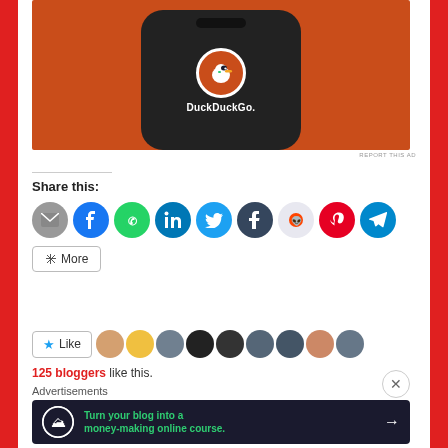[Figure (screenshot): DuckDuckGo app advertisement showing a smartphone with the DuckDuckGo logo and name on an orange background]
REPORT THIS AD
Share this:
[Figure (screenshot): Row of social share buttons: email, Facebook, WhatsApp, LinkedIn, Twitter, Tumblr, Reddit, Pinterest, Telegram, and a More button]
[Figure (screenshot): Like button with star icon and a strip of 9 blogger avatar thumbnails]
125 bloggers like this.
Advertisements
[Figure (screenshot): Advertisement banner: Turn your blog into a money-making online course. with arrow button on dark background]